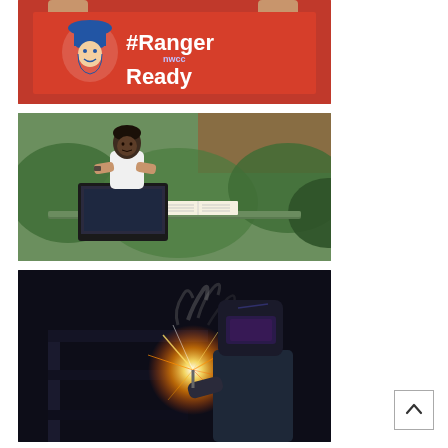[Figure (photo): Person holding a red sign reading '#RangerReady NWCC' with a cowboy mascot logo in blue and white]
[Figure (photo): Young Black male student sitting outdoors at a table working on a laptop with an open book beside him, green shrubs and brick building in background]
[Figure (photo): Person wearing a welding helmet welding metal, sparks and bright light visible, dark background]